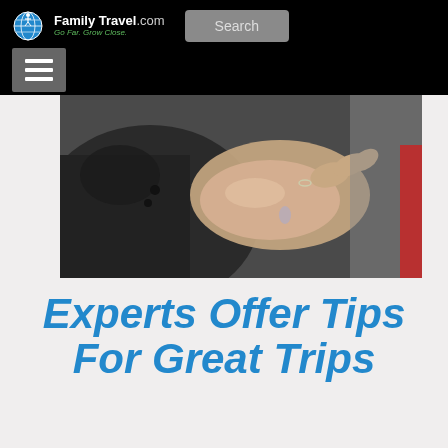FamilyTravel.com Go Far. Grow Close. Search
[Figure (photo): Close-up photo of hands, one open palm extended, with a blurred background; cropped view showing dark jacket and a hint of red on the right edge]
Experts Offer Tips For Great Trips